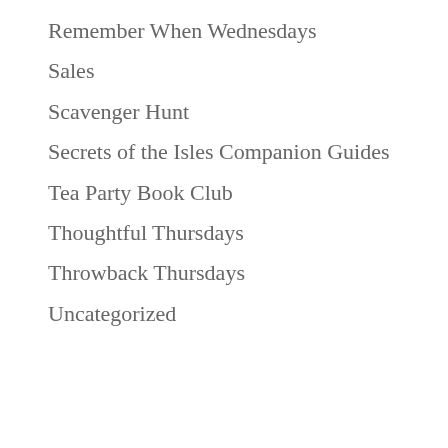Remember When Wednesdays
Sales
Scavenger Hunt
Secrets of the Isles Companion Guides
Tea Party Book Club
Thoughtful Thursdays
Throwback Thursdays
Uncategorized